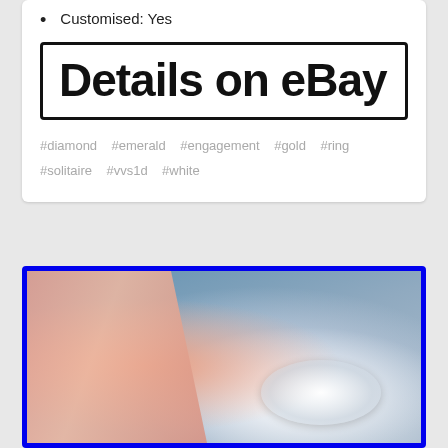Customised: Yes
[Figure (other): Banner graphic with text 'Details on eBay' in large bold font inside a thick black border]
#diamond   #emerald   #engagement   #gold   #ring   #solitaire   #vvs1d   #white
[Figure (photo): Blurry photo of a diamond ring cluster on a finger, with a bright blue border frame around the image]